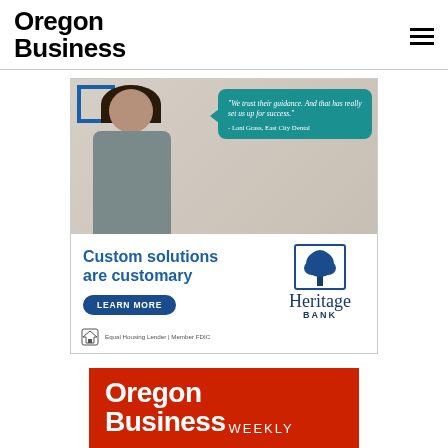Oregon Business
[Figure (photo): Heritage Bank advertisement featuring a woman smiling, with a teal speech bubble quoting 'We trust their guidance. And that has really set us up for success.' - Lani Grass, East City Dental. Bottom section shows 'Custom solutions are customary' with a LEARN MORE button and Heritage Bank logo. Footer shows Equal Housing Lender | Member FDIC.]
[Figure (logo): Oregon Business Weekly banner logo — red background with white bold text 'Oregon Business' and 'WEEKLY' in smaller white uppercase letters]